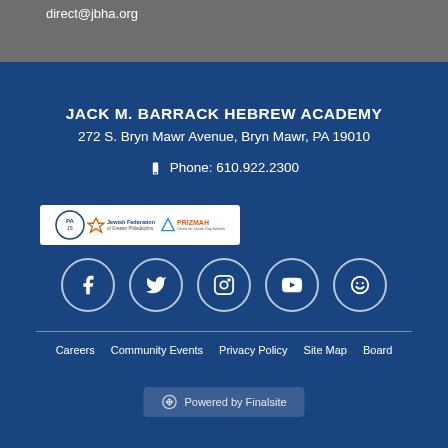direct@jbha.org
JACK M. BARRACK HEBREW ACADEMY
272 S. Bryn Mawr Avenue, Bryn Mawr, PA 19010
Phone: 610.922.2300
[Figure (logo): Logos: PAJS, Jewish Federation of Greater Philadelphia, PRIZMAH Center for Jewish Day Schools]
[Figure (infographic): Social media icons: Facebook, Twitter, Instagram, YouTube, and one more circle icon]
Careers   Community Events   Privacy Policy   Site Map   Board
Powered by Finalsite